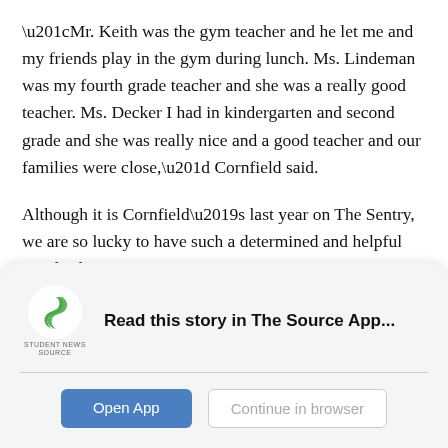“Mr. Keith was the gym teacher and he let me and my friends play in the gym during lunch. Ms. Lindeman was my fourth grade teacher and she was a really good teacher. Ms. Decker I had in kindergarten and second grade and she was really nice and a good teacher and our families were close,” Cornfield said.
Although it is Cornfield’s last year on The Sentry, we are so lucky to have such a determined and helpful Head Editor.
[Figure (logo): Student News Source logo: green stylized S shape with 'STUDENT NEWS SOURCE' text below]
Read this story in The Source App...
Open App
Continue in browser